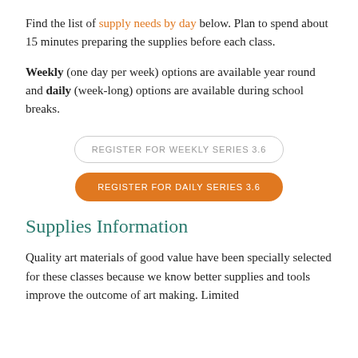Find the list of supply needs by day below. Plan to spend about 15 minutes preparing the supplies before each class.
Weekly (one day per week) options are available year round and daily (week-long) options are available during school breaks.
REGISTER FOR WEEKLY SERIES 3.6
REGISTER FOR DAILY SERIES 3.6
Supplies Information
Quality art materials of good value have been specially selected for these classes because we know better supplies and tools improve the outcome of art making. Limited